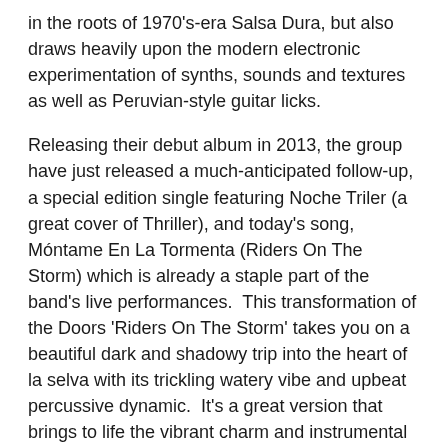in the roots of 1970's-era Salsa Dura, but also draws heavily upon the modern electronic experimentation of synths, sounds and textures as well as Peruvian-style guitar licks.
Releasing their debut album in 2013, the group have just released a much-anticipated follow-up, a special edition single featuring Noche Triler (a great cover of Thriller), and today's song, Móntame En La Tormenta (Riders On The Storm) which is already a staple part of the band's live performances.  This transformation of the Doors 'Riders On The Storm' takes you on a beautiful dark and shadowy trip into the heart of la selva with its trickling watery vibe and upbeat percussive dynamic.  It's a great version that brings to life the vibrant charm and instrumental beauty of this fantastic song.  Listen above.